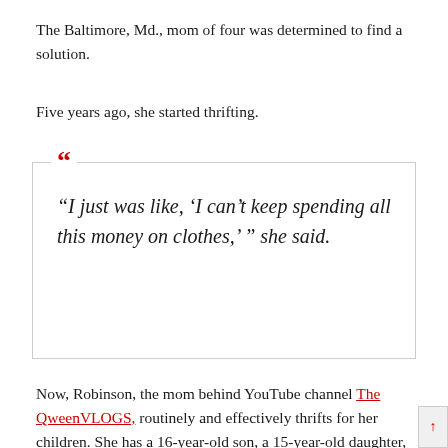The Baltimore, Md., mom of four was determined to find a solution.
Five years ago, she started thrifting.
“I just was like, ‘I can’t keep spending all this money on clothes,’ ” she said.
Now, Robinson, the mom behind YouTube channel The QweenVLOGS, routinely and effectively thrifts for her children. She has a 16-year-old son, a 15-year-old daughter, a 2-year-old daughter and a 1-year-old daughter. The older children like to select their own clothes, but Robinson, 38, always eyes great